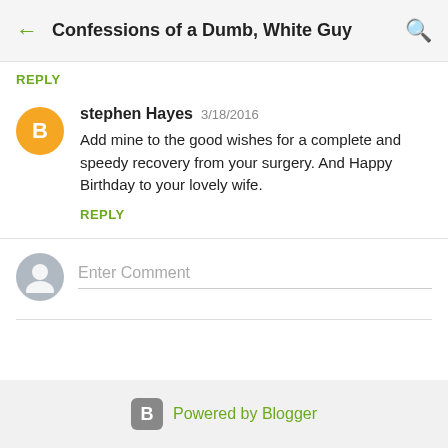Confessions of a Dumb, White Guy
REPLY
stephen Hayes  3/18/2016
Add mine to the good wishes for a complete and speedy recovery from your surgery. And Happy Birthday to your lovely wife.
REPLY
Enter Comment
Powered by Blogger